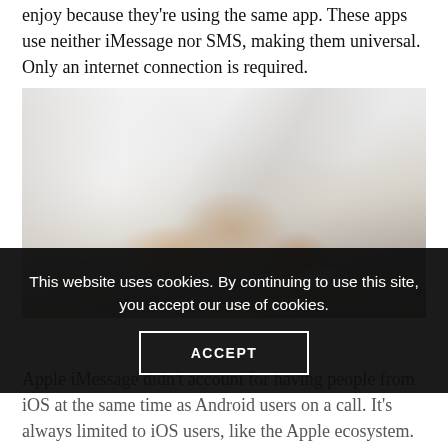enjoy because they're using the same app. These apps use neither iMessage nor SMS, making them universal. Only an internet connection is required.
[Figure (photo): Close-up photo of a person in a white shirt using a smartphone, fingers touching the screen]
This website uses cookies. By continuing to use this site, you accept our use of cookies.
ACCEPT
Apple iMessage didn't account for having people from iOS at the same time as Android users on a call. It's always limited to iOS users, like the Apple ecosystem.